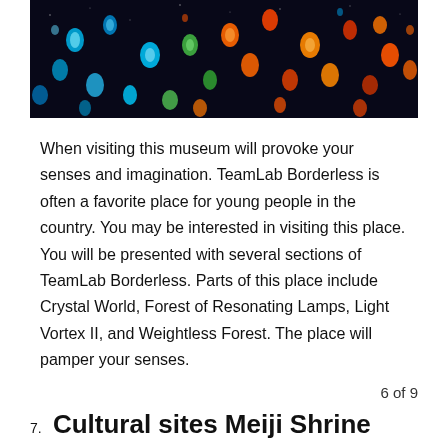[Figure (photo): Photo of colorful sky lanterns floating in a dark night sky, with blue, orange, red and green glowing lanterns.]
When visiting this museum will provoke your senses and imagination. TeamLab Borderless is often a favorite place for young people in the country. You may be interested in visiting this place. You will be presented with several sections of TeamLab Borderless. Parts of this place include Crystal World, Forest of Resonating Lamps, Light Vortex II, and Weightless Forest. The place will pamper your senses.
6 of 9
7. Cultural sites Meiji Shrine
[Figure (photo): Photo of Meiji Shrine with traditional Japanese architecture, trees, and blue sky.]